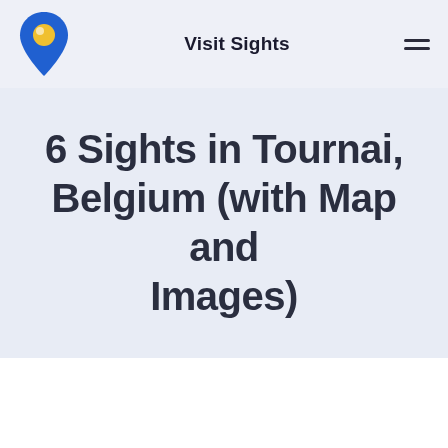Visit Sights
6 Sights in Tournai, Belgium (with Map and Images)
[Figure (map): Interactive map area with zoom controls (+, -, compass/tilt button) showing map of Tournai, Belgium]